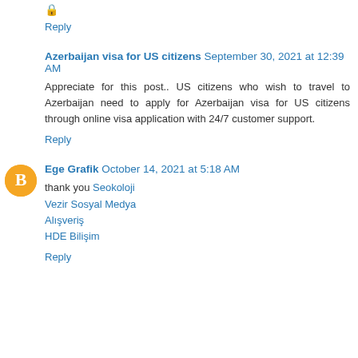🔒
Reply
Azerbaijan visa for US citizens September 30, 2021 at 12:39 AM
Appreciate for this post.. US citizens who wish to travel to Azerbaijan need to apply for Azerbaijan visa for US citizens through online visa application with 24/7 customer support.
Reply
Ege Grafik October 14, 2021 at 5:18 AM
thank you Seokoloji
Vezir Sosyal Medya
Alışveriş
HDE Bilişim
Reply